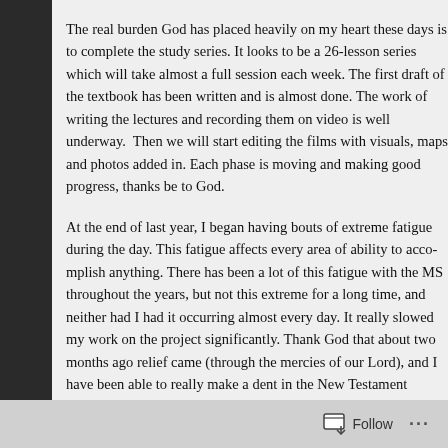The real burden God has placed heavily on my heart these days is to complete the study series. It looks to be a 26-lesson series which will take almost a full session each week. The first draft of the textbook has been written and is almost done. The work of writing the lectures and recording them on video is well underway. Then we will start editing the films with visuals, maps and photos added in. Each phase is moving and making good progress, thanks be to God.
At the end of last year, I began having bouts of extreme fatigue during the day. This fatigue affects every area of ability to accomplish anything. There has been a lot of this fatigue with the MS throughout the years, but not this extreme for a long time, and neither had I had it occurring almost every day. It really slowed my work on the project significantly. Thank God that about two months ago relief came (through the mercies of our Lord), and I have been able to really make a dent in the New Testament project! I am so thankful and so thrilled a
Follow ···